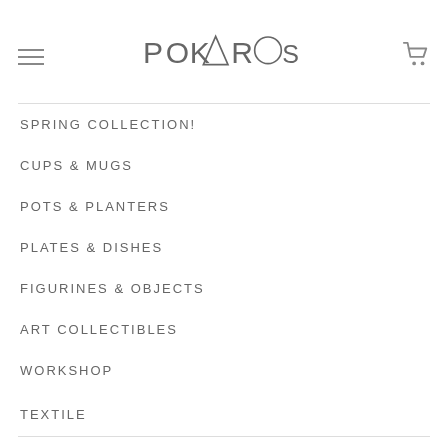POKAROS
SPRING COLLECTION!
CUPS & MUGS
POTS & PLANTERS
PLATES & DISHES
FIGURINES & OBJECTS
ART COLLECTIBLES
WORKSHOP
TEXTILE
T-SHIRTS & ROMPERS